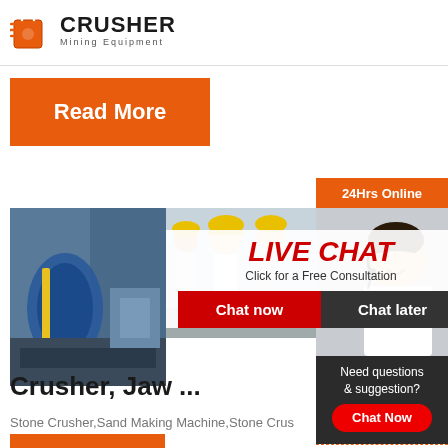[Figure (logo): Crusher Mining Equipment logo with orange shopping bag icon and bold black CRUSHER text]
[Figure (photo): Orange Read More button]
[Figure (photo): Industrial mining equipment photo on left, workers with hard hats in center, Live Chat overlay with Chat now and Chat later buttons, female customer service rep on right sidebar]
Cone
Crusher, Jaw ...
Stone Crusher,Sand Making Machine,Stone Crus
[Figure (infographic): Right sidebar with 24Hrs Online bar, Need questions & suggestion? Chat Now button, Enquiry link, limingjlmofen@sina.com email]